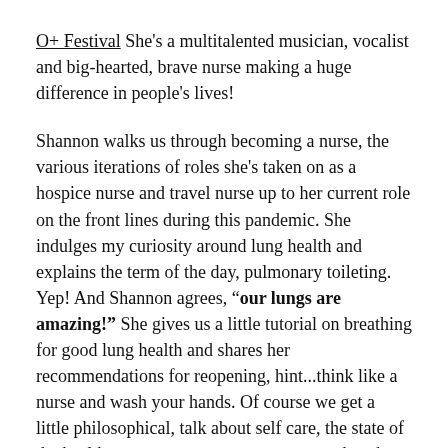O+ Festival She's a multitalented musician, vocalist and big-hearted, brave nurse making a huge difference in people's lives!
Shannon walks us through becoming a nurse, the various iterations of roles she's taken on as a hospice nurse and travel nurse up to her current role on the front lines during this pandemic. She indulges my curiosity around lung health and explains the term of the day, pulmonary toileting. Yep! And Shannon agrees, "our lungs are amazing!" She gives us a little tutorial on breathing for good lung health and shares her recommendations for reopening, hint...think like a nurse and wash your hands. Of course we get a little philosophical, talk about self care, the state of the healthcare system, a new economy, and gush over our mutual adoration for Jim James of My Morning Jacket.